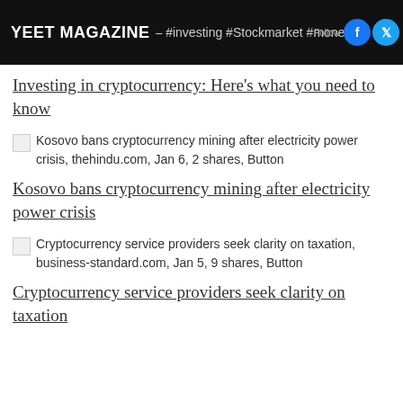YEET MAGAZINE – #investing #Stockmarket #money T
Investing in cryptocurrency: Here's what you need to know
Kosovo bans cryptocurrency mining after electricity power crisis, thehindu.com, Jan 6, 2 shares, Button
Kosovo bans cryptocurrency mining after electricity power crisis
Cryptocurrency service providers seek clarity on taxation, business-standard.com, Jan 5, 9 shares, Button
Cryptocurrency service providers seek clarity on taxation